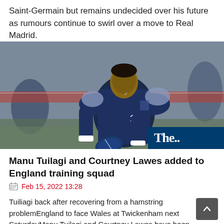Saint-Germain but remains undecided over his future as rumours continue to swirl over a move to Real Madrid.
[Figure (photo): Rugby player wearing navy blue Scotland jersey with number 12, holding a rugby ball during training. The Guardian logo watermark visible in bottom right corner.]
Manu Tuilagi and Courtney Lawes added to England training squad
Feb 15, 2022 13:28
Tuiliagi back after recovering from a hamstring problemEngland to face Wales at Twickenham next SaturdayManu Tuilagi and Courtney Lawes have been included in Eddie Jones's 25-man England squad for a five-day training camp in London.